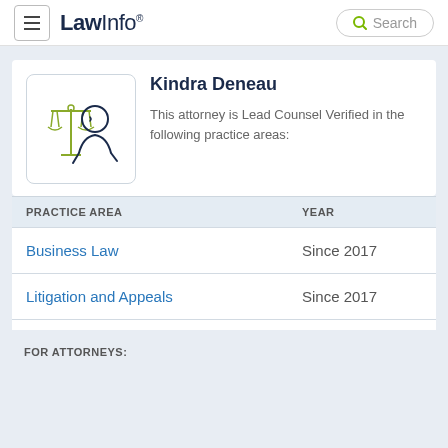LawInfo. Search
[Figure (illustration): LawInfo attorney profile illustration showing scales of justice and a person silhouette in navy and olive/green line art style]
Kindra Deneau
This attorney is Lead Counsel Verified in the following practice areas:
| PRACTICE AREA | YEAR |
| --- | --- |
| Business Law | Since 2017 |
| Litigation and Appeals | Since 2017 |
FOR ATTORNEYS: